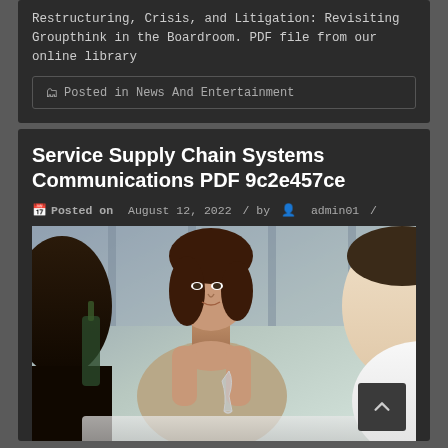Restructuring, Crisis, and Litigation: Revisiting Groupthink in the Boardroom. PDF file from our online library
Posted in News And Entertainment
Service Supply Chain Systems Communications PDF 9c2e457ce
Posted on August 12, 2022 / by admin01 /
[Figure (photo): A woman and a man sitting at a restaurant table, with wine glasses and a bottle. The woman looks at the man who has his back to the camera.]